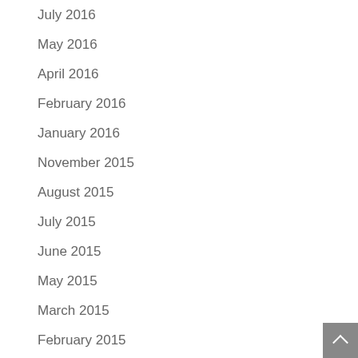July 2016
May 2016
April 2016
February 2016
January 2016
November 2015
August 2015
July 2015
June 2015
May 2015
March 2015
February 2015
January 2015
December 2014
October 2014